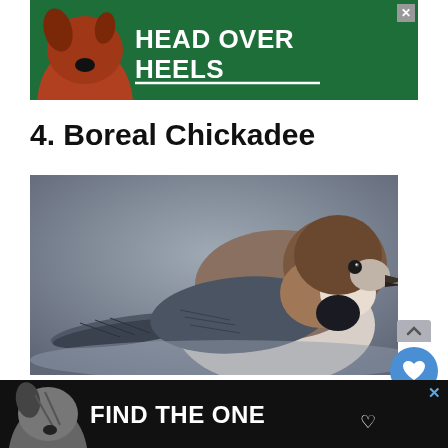[Figure (illustration): Top banner advertisement with green background, dog photo, and text 'HEAD OVER HEELS' in white bold letters with underline. Close X button top right.]
4. Boreal Chickadee
[Figure (photo): Close-up photograph of a Boreal Chickadee bird perched, showing brownish cap, white cheeks, gray and brown body, against a gray blurred background.]
[Figure (illustration): Bottom banner advertisement with black background, brindle dog photo, and text 'FIND THE ONE' in white bold letters with a heart symbol. Close X button top right.]